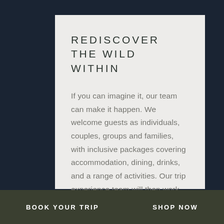REDISCOVER THE WILD WITHIN
If you can imagine it, our team can make it happen. We welcome guests as individuals, couples, groups and families, with inclusive packages covering accommodation, dining, drinks, and a range of activities. Our trip experience team will then work with you to enhance your stay with unforgettable adventures and moments of reflection, ensuring your expectations are more than exceeded.
BOOK YOUR TRIP   SHOP NOW